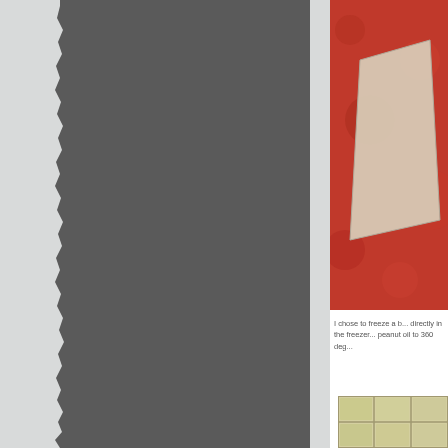[Figure (photo): Left panel with dark gray torn-paper texture effect on a light gray background]
[Figure (photo): Close-up photo of raw red meat (beef) with a triangular piece of lighter colored material on top]
I chose to freeze a b... directly in the freezer... peanut oil to 360 deg...
[Figure (photo): Grid of frozen food items in a tray, yellowish-green color, arranged in rectangular sections]